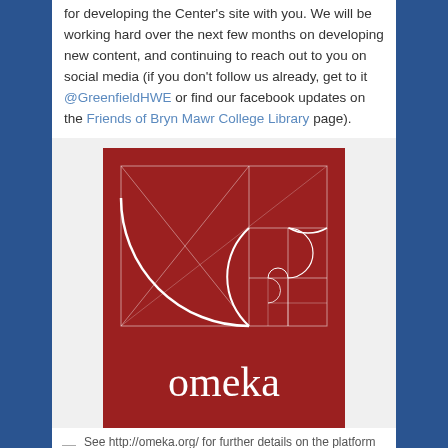for developing the Center's site with you. We will be working hard over the next few months on developing new content, and continuing to reach out to you on social media (if you don't follow us already, get to it @GreenfieldHWE or find our facebook updates on the Friends of Bryn Mawr College Library page).
[Figure (logo): Omeka logo: red square background with white Fibonacci spiral / golden ratio geometric design (rectangles and arc), with the word 'omeka' in white serif font below the spiral]
— See http://omeka.org/ for further details on the platform we use to power our site